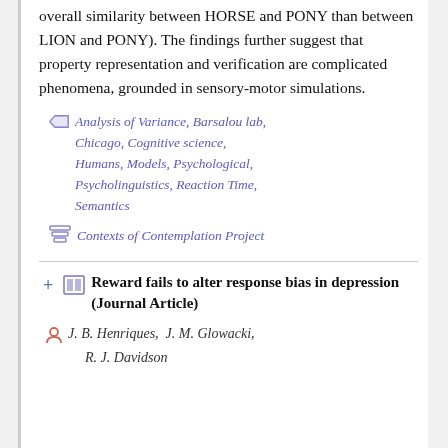overall similarity between HORSE and PONY than between LION and PONY). The findings further suggest that property representation and verification are complicated phenomena, grounded in sensory-motor simulations.
Analysis of Variance, Barsalou lab, Chicago, Cognitive science, Humans, Models, Psychological, Psycholinguistics, Reaction Time, Semantics
Contexts of Contemplation Project
Reward fails to alter response bias in depression (Journal Article)
J. B. Henriques, J. M. Glowacki, R. J. Davidson